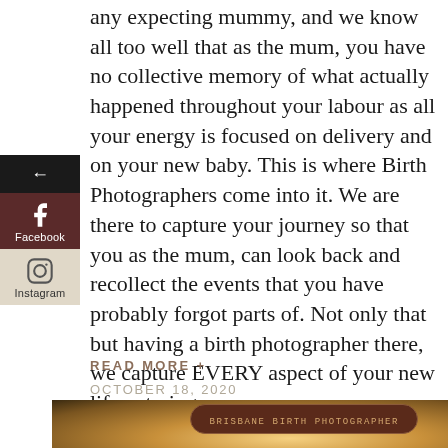any expecting mummy, and we know all too well that as the mum, you have no collective memory of what actually happened throughout your labour as all your energy is focused on delivery and on your new baby. This is where Birth Photographers come into it. We are there to capture your journey so that you as the mum, can look back and recollect the events that you have probably forgot parts of. Not only that but having a birth photographer there, we capture EVERY aspect of your new life entering
READ MORE +
OCTOBER 18, 2020
[Figure (photo): Outdoor photo with warm golden tones showing a person with flower crown, Brisbane Birth Photographer badge overlay]